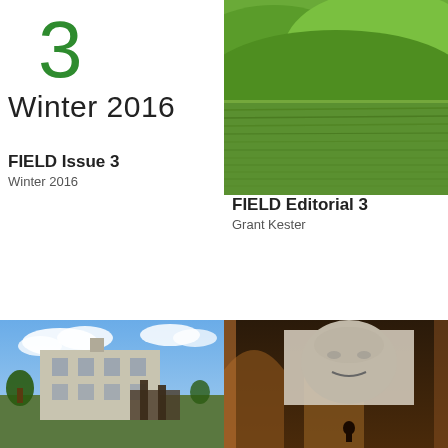3
Winter 2016
FIELD Issue 3
Winter 2016
[Figure (photo): Green rolling wheat/grass field landscape photo]
FIELD Editorial 3
Grant Kester
[Figure (photo): Abandoned industrial building with graffiti, blue sky with clouds]
[Figure (photo): Dark interior art installation with projected face on screen, figure below]